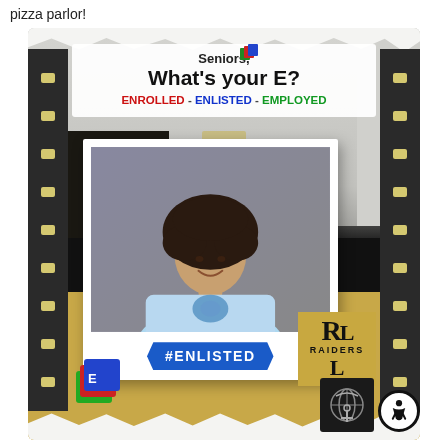pizza parlor!
[Figure (photo): School hallway photo frame showing a high school senior with curly hair wearing a light blue t-shirt, displayed in a polaroid-style frame with '#ENLISTED' banner, school film strip borders, Raiders school logo, and 'Seniors, What's your E? ENROLLED - ENLISTED - EMPLOYED' sign in background. Marines emblem and accessibility icon visible at bottom right.]